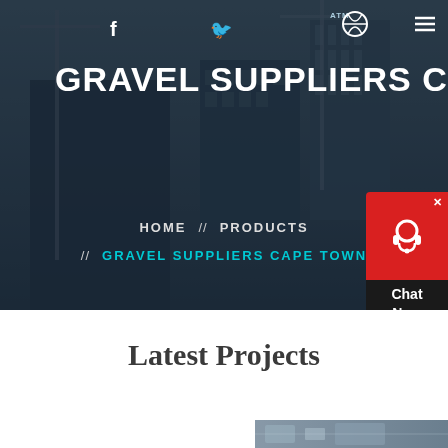[Figure (photo): Hero banner showing a construction site with cranes and tall buildings under construction against a dark blue-gray skyline, with a dark overlay]
GRAVEL SUPPLIERS CAPE TOWN
HOME // PRODUCTS // GRAVEL SUPPLIERS CAPE TOWN
[Figure (screenshot): Live chat widget button with red headset icon and Chat Now text on dark background]
Latest Projects
[Figure (photo): Partial view of an industrial/construction facility interior showing machinery and equipment]